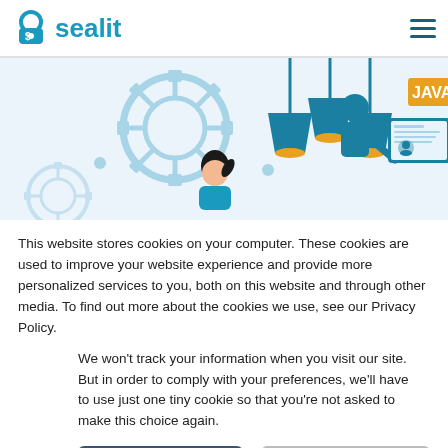sealit
[Figure (illustration): Website hero banner with tech illustration: gear cogs, hanging pendant lamps, a person at a computer screen, and a JAVA label badge on an orange/yellow background, rendered in blue tones on a light blue background.]
This website stores cookies on your computer. These cookies are used to improve your website experience and provide more personalized services to you, both on this website and through other media. To find out more about the cookies we use, see our Privacy Policy.
We won't track your information when you visit our site. But in order to comply with your preferences, we'll have to use just one tiny cookie so that you're not asked to make this choice again.
Accept   Decline